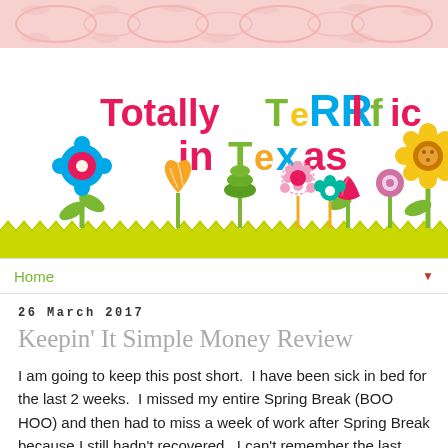[Figure (illustration): Pink floral/damask pattern banner at top of page]
[Figure (illustration): Totally Terrific in Texas blog header with colorful whimsical text and cartoon flowers/plants on white background with green grass strip at bottom]
Home ▼
26 March 2017
Keepin' It Simple Money Review
I am going to keep this post short.  I have been sick in bed for the last 2 weeks.  I missed my entire Spring Break (BOO HOO) and then had to miss a week of work after Spring Break because I still hadn't recovered.  I can't remember the last time I've been this under the weather.   I'm going to have to blame it on Spring.  We have these beautiful oak trees in